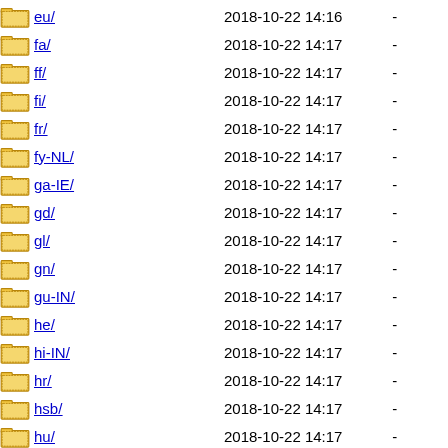eu/  2018-10-22 14:16  -
fa/  2018-10-22 14:17  -
ff/  2018-10-22 14:17  -
fi/  2018-10-22 14:17  -
fr/  2018-10-22 14:17  -
fy-NL/  2018-10-22 14:17  -
ga-IE/  2018-10-22 14:17  -
gd/  2018-10-22 14:17  -
gl/  2018-10-22 14:17  -
gn/  2018-10-22 14:17  -
gu-IN/  2018-10-22 14:17  -
he/  2018-10-22 14:17  -
hi-IN/  2018-10-22 14:17  -
hr/  2018-10-22 14:17  -
hsb/  2018-10-22 14:17  -
hu/  2018-10-22 14:17  -
hy-AM/  2018-10-22 14:17  -